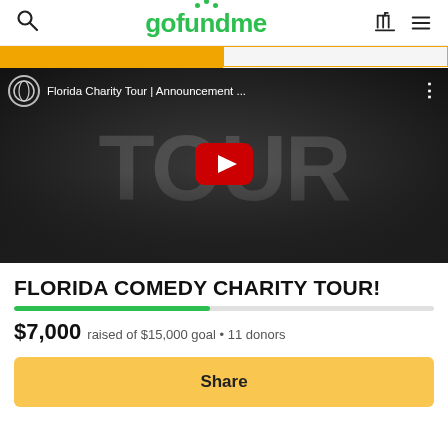gofundme
[Figure (screenshot): YouTube video thumbnail for 'Florida Charity Tour | Announcement...' showing a group of people with a large TOUR text overlay and YouTube play button]
FLORIDA COMEDY CHARITY TOUR!
$7,000 raised of $15,000 goal • 11 donors
Share